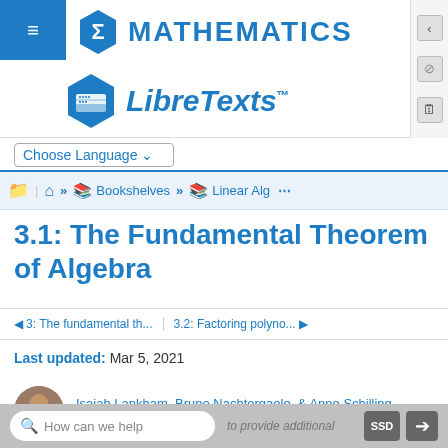[Figure (logo): Mathematics LibreTexts logo with sigma hexagon and books hexagon]
Choose Language ▾
Home » Bookshelves » Linear Alg ...
3.1: The Fundamental Theorem of Algebra
◄ 3: The fundamental th...  |  3.2: Factoring polyno... ►
Last updated: Mar 5, 2021
Isaiah Lankham, Bruno Nachtergaele, & Anne Schilling
University of California, Davis
How can we help